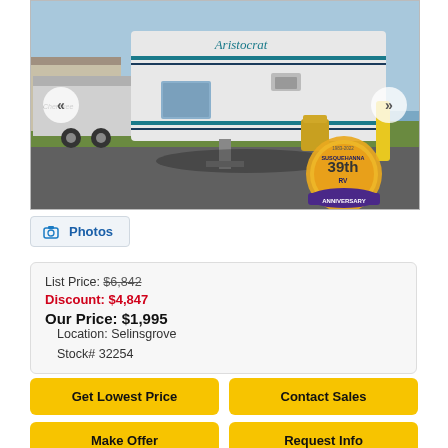[Figure (photo): RV/fifth-wheel trailer (Aristocrat brand) parked in a lot with other RVs, blue sky background. Navigation arrows on left and right. Susquehanna RV 39th Anniversary badge in lower right.]
Photos
List Price: $6,842
Discount: $4,847
Our Price: $1,995
Location: Selinsgrove
Stock# 32254
Get Lowest Price
Contact Sales
Make Offer
Request Info